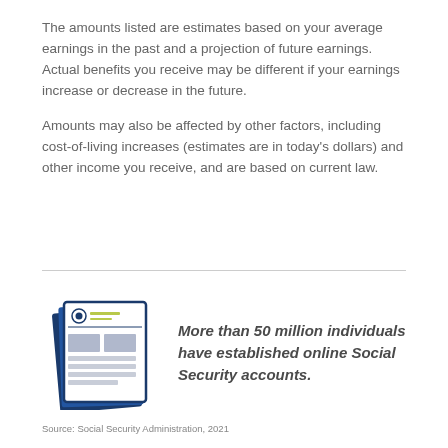The amounts listed are estimates based on your average earnings in the past and a projection of future earnings. Actual benefits you receive may be different if your earnings increase or decrease in the future.
Amounts may also be affected by other factors, including cost-of-living increases (estimates are in today's dollars) and other income you receive, and are based on current law.
[Figure (illustration): Illustration of a Social Security statement document with a blue border, showing a logo and text lines, representing an online Social Security account.]
More than 50 million individuals have established online Social Security accounts.
Source: Social Security Administration, 2021